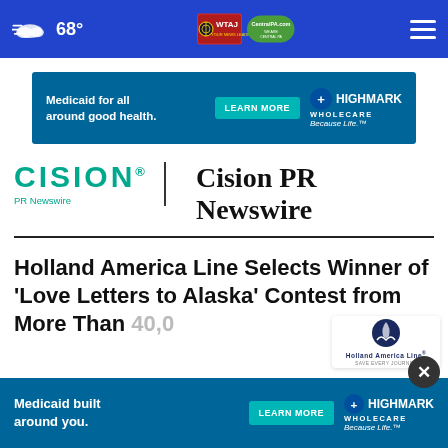68° — WTAJ / CentralPA.com
[Figure (screenshot): Highmark Wholecare ad banner: Medicaid for all around good health. LEARN MORE button. Highmark Wholecare Because Life.]
[Figure (logo): Cision PR Newswire logo with teal wordmark and tagline PR Newswire]
Cision PR Newswire
Holland America Line Selects Winner of 'Love Letters to Alaska' Contest from More Than 40,0...
[Figure (logo): Holland America Line Save Every Journey logo]
[Figure (screenshot): Highmark Wholecare ad banner: Medicaid built around you. LEARN MORE button. Highmark Wholecare Because Life.]